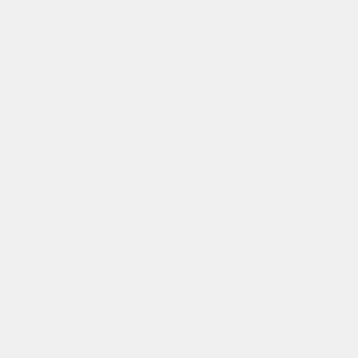[Figure (other): Mostly blank light grey page with a vertical blue line near the right edge, followed by a yellow/cream strip, and then a white column containing vertically oriented text reading 'Metric conversion of imp' (with text cut off at bottom), rendered in monospace font.]